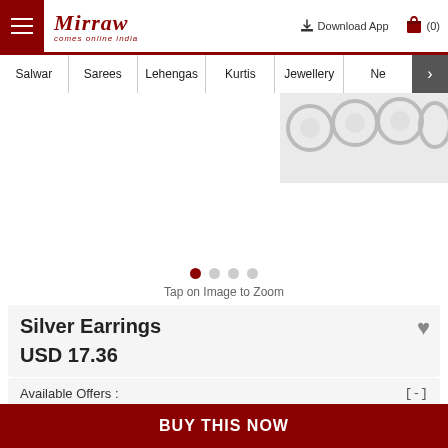Mirraw — comes online India | Download App | (0)
Salwar | Sarees | Lehengas | Kurtis | Jewellery | Ne >
[Figure (photo): Silver jewellery product image shown partially at top right]
Tap on Image to Zoom
Silver Earrings
USD 17.36
Available Offers :  [-]
100% cashback   T&C
BUY THIS NOW